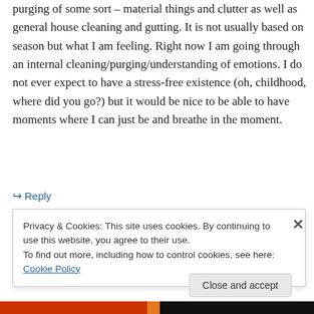purging of some sort – material things and clutter as well as general house cleaning and gutting. It is not usually based on season but what I am feeling. Right now I am going through an internal cleaning/purging/understanding of emotions. I do not ever expect to have a stress-free existence (oh, childhood, where did you go?) but it would be nice to be able to have moments where I can just be and breathe in the moment.
↪ Reply
Privacy & Cookies: This site uses cookies. By continuing to use this website, you agree to their use.
To find out more, including how to control cookies, see here: Cookie Policy
Close and accept